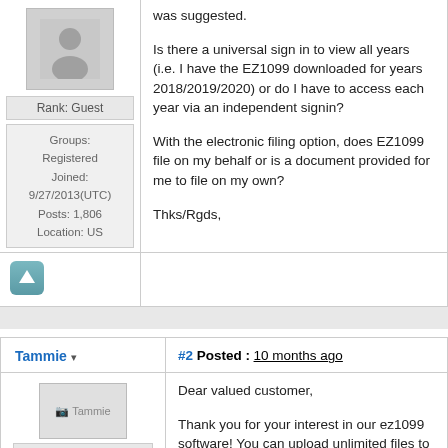Is there a universal sign in to view all years (i.e. I have the EZ1099 downloaded for years 2018/2019/2020) or do I have to access each year via an independent signin?
With the electronic filing option, does EZ1099 file on my behalf or is a document provided for me to file on my own?
Thks/Rgds,
Rank: Guest
Groups: Registered Joined: 9/27/2013(UTC) Posts: 1,806 Location: US
Tammie
#2 Posted : 10 months ago
Dear valued customer,
Thank you for your interest in our ez1099 software! You can upload unlimited files to the IRS site for the one flat rate of the efile version. We release a new
Rank: Administration